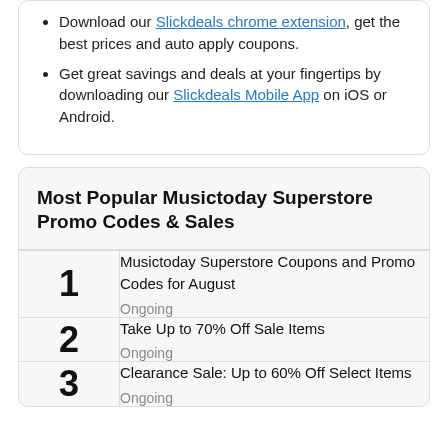Download our Slickdeals chrome extension, get the best prices and auto apply coupons.
Get great savings and deals at your fingertips by downloading our Slickdeals Mobile App on iOS or Android.
Most Popular Musictoday Superstore Promo Codes & Sales
| # | Deal |
| --- | --- |
| 1 | Musictoday Superstore Coupons and Promo Codes for August
Ongoing |
| 2 | Take Up to 70% Off Sale Items
Ongoing |
| 3 | Clearance Sale: Up to 60% Off Select Items
Ongoing |